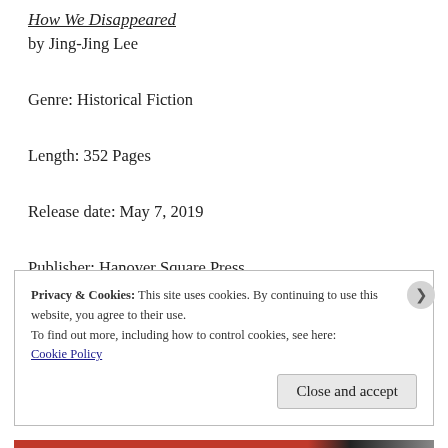How We Disappeared
by Jing-Jing Lee
Genre: Historical Fiction
Length: 352 Pages
Release date: May 7, 2019
Publisher: Hanover Square Press
Privacy & Cookies: This site uses cookies. By continuing to use this website, you agree to their use.
To find out more, including how to control cookies, see here:
Cookie Policy
Close and accept